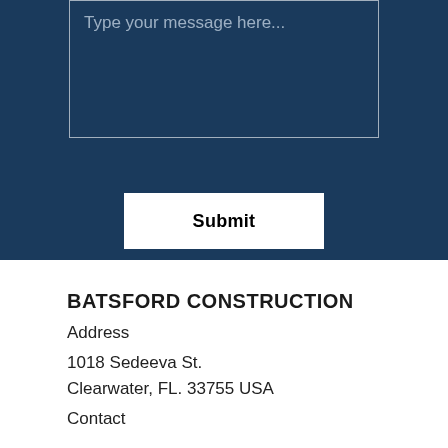[Figure (screenshot): Dark navy blue contact form section with a message text area showing placeholder text 'Type your message here...' and a white Submit button below it.]
BATSFORD CONSTRUCTION
Address
1018 Sedeeva St.
Clearwater, FL. 33755 USA
Contact